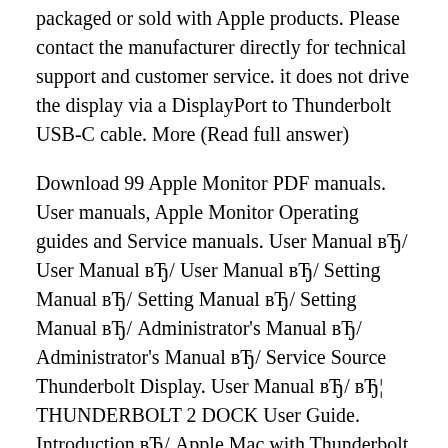packaged or sold with Apple products. Please contact the manufacturer directly for technical support and customer service. it does not drive the display via a DisplayPort to Thunderbolt USB-C cable. More (Read full answer)
Download 99 Apple Monitor PDF manuals. User manuals, Apple Monitor Operating guides and Service manuals. User Manual вЂ¦ User Manual вЂ¦ User Manual вЂ¦ Setting Manual вЂ¦ Setting Manual вЂ¦ Setting Manual вЂ¦ Setting Manual вЂ¦ Administrator's Manual вЂ¦ Administrator's Manual вЂ¦ Service Source Thunderbolt Display. User Manual вЂ¦ вЂ¦ THUNDERBOLT 2 DOCK User Guide. Introduction вЂ¦ Apple Mac with Thunderbolt you MUST use BOTH a native Thunderbolt display and a native HDMI display